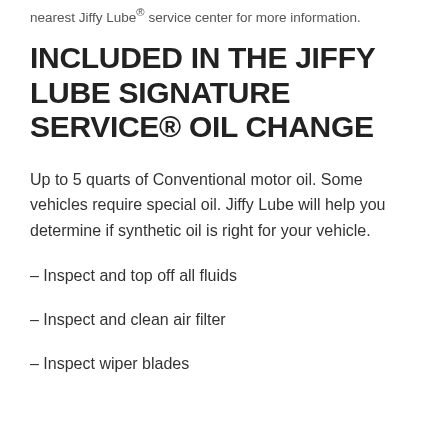nearest Jiffy Lube® service center for more information.
INCLUDED IN THE JIFFY LUBE SIGNATURE SERVICE® OIL CHANGE
Up to 5 quarts of Conventional motor oil. Some vehicles require special oil. Jiffy Lube will help you determine if synthetic oil is right for your vehicle.
– Inspect and top off all fluids
– Inspect and clean air filter
– Inspect wiper blades